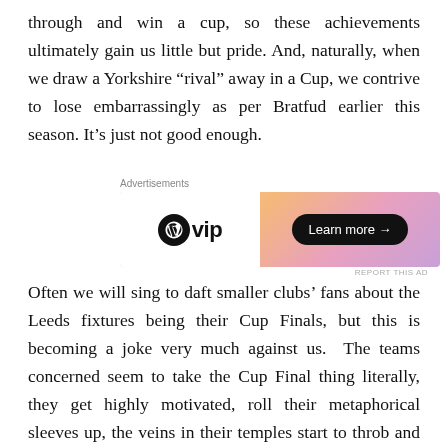through and win a cup, so these achievements ultimately gain us little but pride. And, naturally, when we draw a Yorkshire “rival” away in a Cup, we contrive to lose embarrassingly as per Bratfud earlier this season. It’s just not good enough.
[Figure (other): WordPress VIP advertisement banner with 'Learn more' button on a gradient orange-pink background]
Often we will sing to daft smaller clubs’ fans about the Leeds fixtures being their Cup Finals, but this is becoming a joke very much against us.  The teams concerned seem to take the Cup Final thing literally, they get highly motivated, roll their metaphorical sleeves up, the veins in their temples start to throb and the battle cry is sounded.  Their fans, normally present in miserable numbers, are out